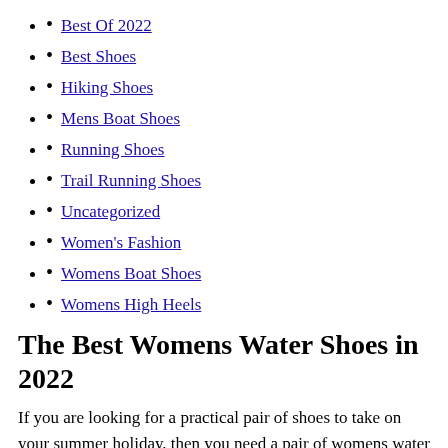Best Of 2022
Best Shoes
Hiking Shoes
Mens Boat Shoes
Running Shoes
Trail Running Shoes
Uncategorized
Women's Fashion
Womens Boat Shoes
Womens High Heels
The Best Womens Water Shoes in 2022
If you are looking for a practical pair of shoes to take on your summer holiday, then you need a pair of womens water shoes. Quick draining and comfortable on rocks, a good pair of water shoes will make your holiday much more enjoyable. Neoprene shoes are a great choice for surfing or spending time on the beach, as they will keep your feet safe from any sharp objects. I remember the first time I ever went kayaking. I was with a group of friends and we had rented a few kayaks from a local shop. We launched from a small beach and paddled out into the bay. The water was calm and the sun was shining. I felt so free and happy paddling around in my kayak. We even saw a few dolphins